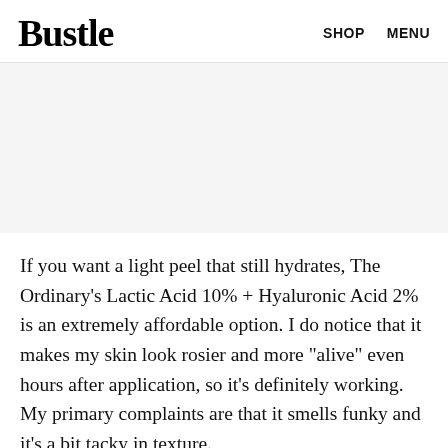Bustle   SHOP   MENU
[Figure (other): Gray placeholder image area]
If you want a light peel that still hydrates, The Ordinary's Lactic Acid 10% + Hyaluronic Acid 2% is an extremely affordable option. I do notice that it makes my skin look rosier and more "alive" even hours after application, so it's definitely working. My primary complaints are that it smells funky and it's a bit tacky in texture.